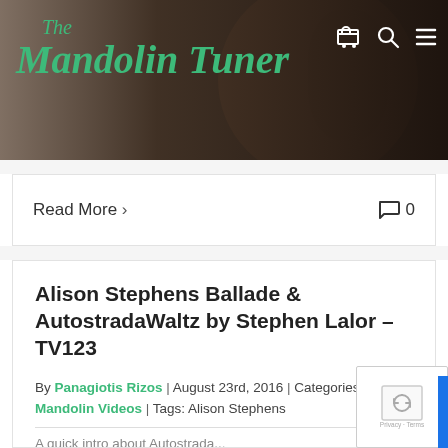The Mandolin Tuner
Read More ›   0
Alison Stephens Ballade & AutostradaWaltz by Stephen Lalor – TV123
By Panagiotis Rizos | August 23rd, 2016 | Categories: Mandolin Videos | Tags: Alison Stephens
A quick intro about Autostrada...